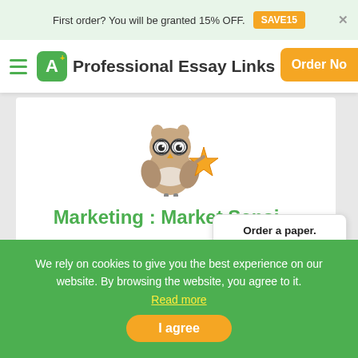First order? You will be granted 15% OFF. SAVE15
Professional Essay Links  Order Now
[Figure (illustration): Cartoon owl mascot wearing glasses and holding a gold star]
Marketing : Market Sensi…
Running head: MARKETING1MarketingNameInstitutional affiliationDateMARKETING2Question 1Marketing orientation represents a unique set of skills tha…
Order a paper. Study better. Sleep tight. Calculate Price!
We rely on cookies to give you the best experience on our website. By browsing the website, you agree to it. Read more
I agree